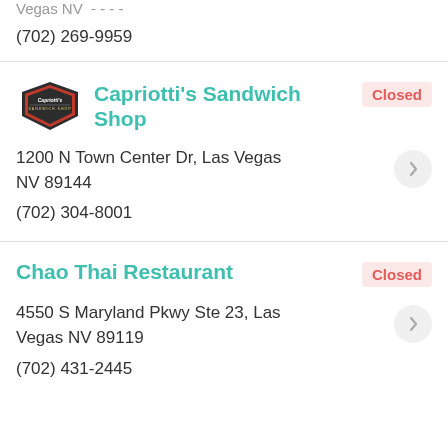(702) 269-9959
Capriotti's Sandwich Shop
Closed
1200 N Town Center Dr, Las Vegas NV 89144
(702) 304-8001
Chao Thai Restaurant
Closed
4550 S Maryland Pkwy Ste 23, Las Vegas NV 89119
(702) 431-2445